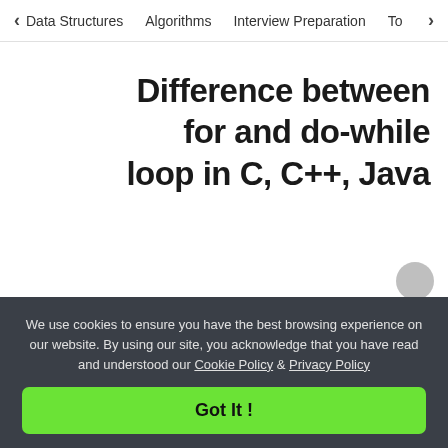< Data Structures   Algorithms   Interview Preparation   Top>
Difference between for and do-while loop in C, C++, Java
We use cookies to ensure you have the best browsing experience on our website. By using our site, you acknowledge that you have read and understood our Cookie Policy & Privacy Policy
Got It !